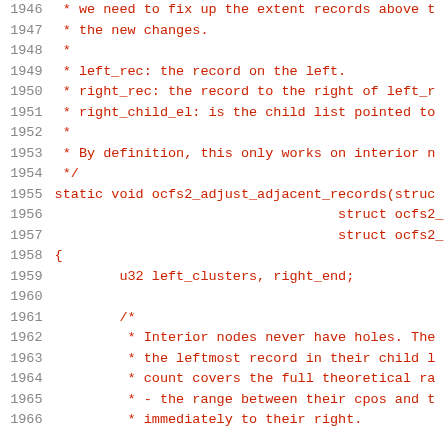Source code listing, lines 1946-1966, C code with comments and function definition for ocfs2_adjust_adjacent_records
1946: * we need to fix up the extent records above t
1947: * the new changes.
1948: *
1949: * left_rec: the record on the left.
1950: * right_rec: the record to the right of left_r
1951: * right_child_el: is the child list pointed to
1952: *
1953: * By definition, this only works on interior n
1954: */
1955: static void ocfs2_adjust_adjacent_records(struc
1956:                                              struct ocfs2_
1957:                                              struct ocfs2_
1958: {
1959:         u32 left_clusters, right_end;
1960: (blank)
1961:         /*
1962:          * Interior nodes never have holes. The
1963:          * the leftmost record in their child l
1964:          * count covers the full theoretical ra
1965:          * - the range between their cpos and t
1966:          * immediately to their right.